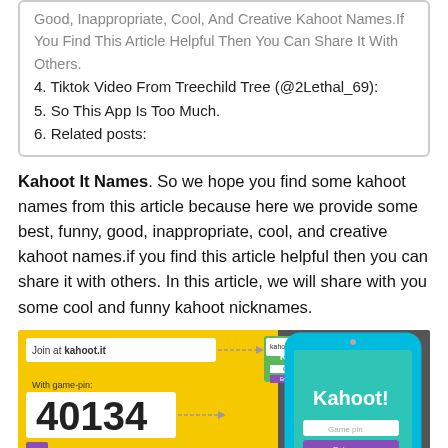Good, Inappropriate, Cool, And Creative Kahoot Names.If You Find This Article Helpful Then You Can Share It With Others.
4. Tiktok Video From Treechild Tree (@2Lethal_69):
5. So This App Is Too Much.
6. Related posts:
Kahoot It Names. So we hope you find some kahoot names from this article because here we provide some best, funny, good, inappropriate, cool, and creative kahoot names.if you find this article helpful then you can share it with others. In this article, we will share with you some cool and funny kahoot nicknames.
[Figure (screenshot): Kahoot! app screenshot showing a game join screen with game pin 40134 on a yellow background, alongside a smartphone displaying the Kahoot! app on a teal background.]